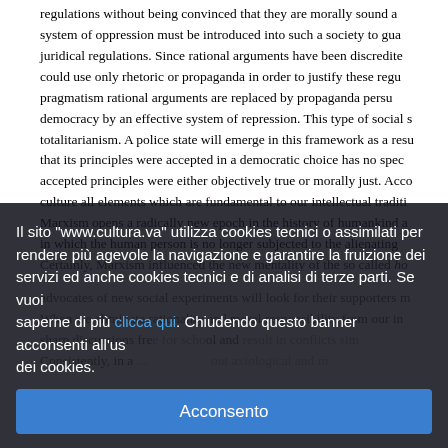regulations without being convinced that they are morally sound a... system of oppression must be introduced into such a society to gua... juridical regulations. Since rational arguments have been discredite... could use only rhetoric or propaganda in order to justify these regu... pragmatism rational arguments are replaced by propaganda persu... democracy by an effective system of repression. This type of social s... totalitarianism. A police state will emerge in this framework as a resu... that its principles were accepted in a democratic choice has no spec... accepted principles were either objectively true or morally just. Acco... culture all elements which are fundamental to our intellectual traditi... Marxism opens a radically new epoch in the history of humankind a... in which the human person is no longer subjected to the alienating... Certainly, Marxism influenced the new mentality of the so called ho...
Il sito "www.cultura.va" utilizza cookies tecnici o assimilati per rendere più agevole la navigazione e garantire la fruizione dei servizi ed anche cookies tecnici e di analisi di terze parti. Se vuoi saperne di più clicca qui. Chiudendo questo banner acconsenti all'uso dei cookies.
Acconsento
advocates of new social experiments will look for their supporters m... When we eliminate rationality and moral responsibility from our in... sharp discussions free for school and result in conflicts sim... Consistently, in a ... out axiological and m...